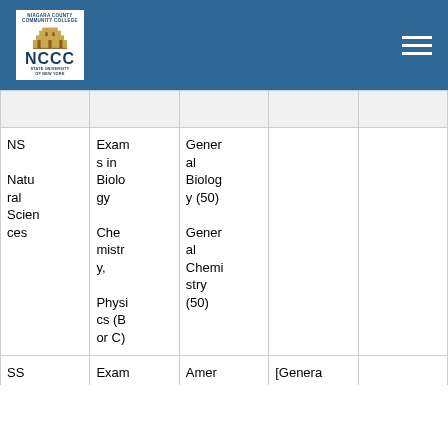NCCC - Niagara County Community College
| NS Natural Sciences | Exams in Biology Chemistry, Physics (B or C) | General Biology (50) General Chemistry (50) |  |  |
| SS | Exam | Amer | [Genera |  |